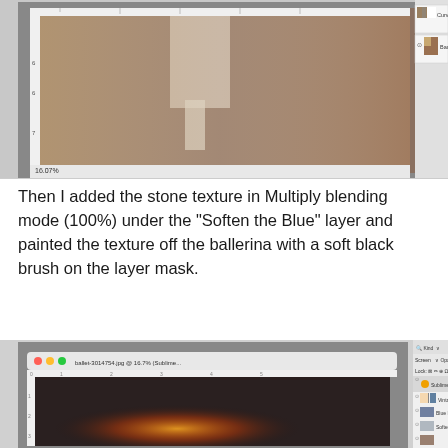[Figure (screenshot): Photoshop screenshot showing a ballerina photo with rulers and layers panel showing Curve Adjustment and Background layers. Zoom level 16.07%.]
Then I added the stone texture in Multiply blending mode (100%) under the "Soften the Blue" layer and painted the texture off the ballerina with a soft black brush on the layer mask.
[Figure (screenshot): Photoshop screenshot showing ballet-3014754.jpg @ 16.7% with layers panel showing Sublime Sun, Vintage Blue, Blue Luxe, Soften the Blue layers. Screen blending mode, Opacity 100%, Fill 100%.]